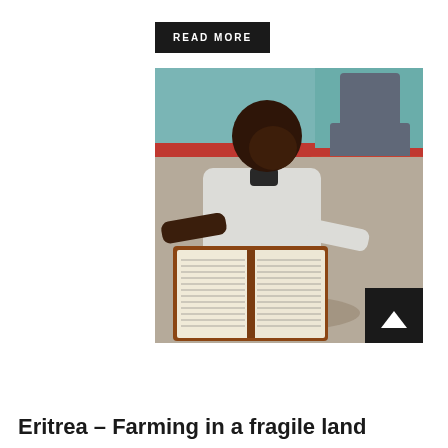READ MORE
[Figure (photo): A young boy sitting and reading a large open book, wearing a white long-sleeve shirt. Another person is seated in the background against a teal wall with a red stripe.]
Eritrea – Farming in a fragile land